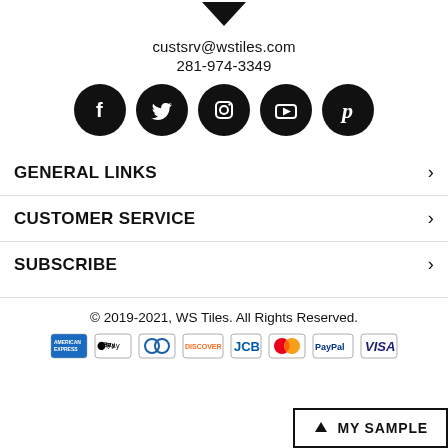[Figure (illustration): Black downward-pointing arrow/chevron icon at top center]
custsrv@wstiles.com
281-974-3349
[Figure (illustration): Row of five black circular social media icons: Facebook, Twitter, Instagram, YouTube, Pinterest]
GENERAL LINKS
CUSTOMER SERVICE
SUBSCRIBE
© 2019-2021, WS Tiles. All Rights Reserved.
[Figure (illustration): Payment method logos: American Express, Apple Pay, Diners Club, Discover, JCB, MasterCard, PayPal, VISA]
MY SAMPLE